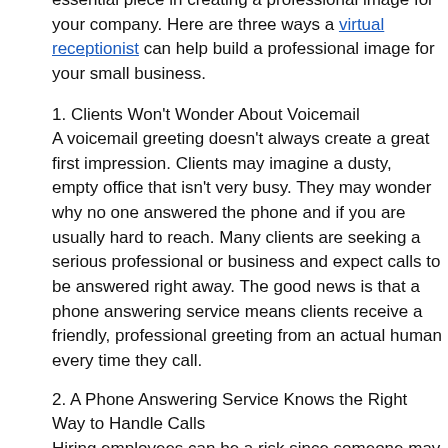essential piece in creating a professional image for your company. Here are three ways a virtual receptionist can help build a professional image for your small business.
1. Clients Won't Wonder About Voicemail
A voicemail greeting doesn't always create a great first impression. Clients may imagine a dusty, empty office that isn't very busy. They may wonder why no one answered the phone and if you are usually hard to reach. Many clients are seeking a serious professional or business and expect calls to be answered right away. The good news is that a phone answering service means clients receive a friendly, professional greeting from an actual human every time they call.
2. A Phone Answering Service Knows the Right Way to Handle Calls
Hiring employees can be a risk since someone may